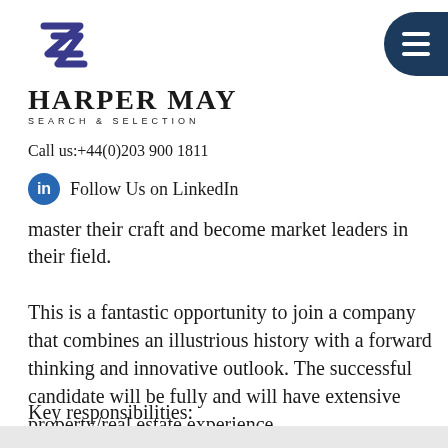[Figure (logo): Harper May Search & Selection logo with geometric ZZ icon and hamburger menu button on the right]
Call us:+44(0)203 900 1811
Follow Us on LinkedIn
master their craft and become market leaders in their field.
This is a fantastic opportunity to join a company that combines an illustrious history with a forward thinking and innovative outlook. The successful candidate will be fully and will have extensive property/real estate experience.
Key responsibilities: